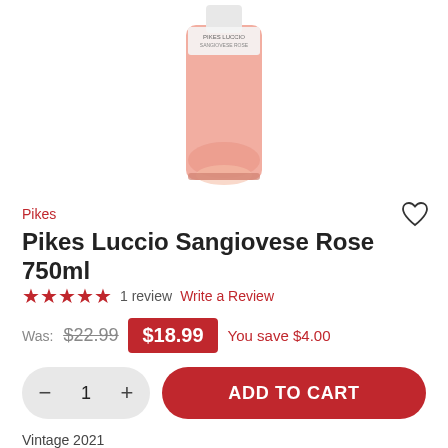[Figure (photo): A bottle of Pikes Luccio Sangiovese Rose wine, pink-rose colored liquid visible through the glass bottle, white label at top, shown from approximately mid-bottle upward.]
Pikes
Pikes Luccio Sangiovese Rose 750ml
★★★★★  1 review  Write a Review
Was: $22.99  $18.99  You save $4.00
− 1 +  ADD TO CART
Vintage 2021